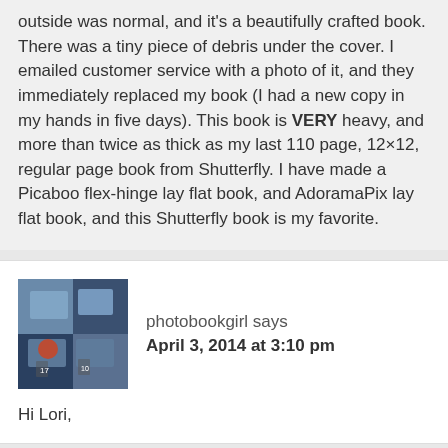outside was normal, and it's a beautifully crafted book. There was a tiny piece of debris under the cover. I emailed customer service with a photo of it, and they immediately replaced my book (I had a new copy in my hands in five days). This book is VERY heavy, and more than twice as thick as my last 110 page, 12×12, regular page book from Shutterfly. I have made a Picaboo flex-hinge lay flat book, and AdoramaPix lay flat book, and this Shutterfly book is my favorite.
photobookgirl says
April 3, 2014 at 3:10 pm
[Figure (photo): Avatar/profile image thumbnail showing photo books]
Hi Lori,